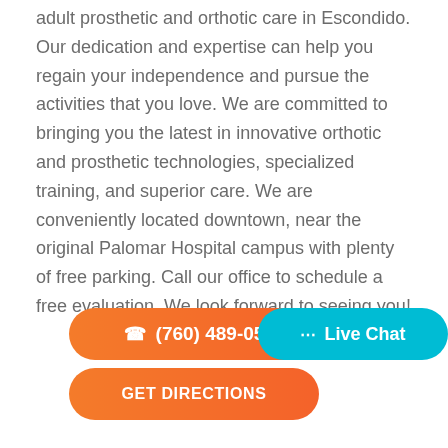adult prosthetic and orthotic care in Escondido. Our dedication and expertise can help you regain your independence and pursue the activities that you love. We are committed to bringing you the latest in innovative orthotic and prosthetic technologies, specialized training, and superior care. We are conveniently located downtown, near the original Palomar Hospital campus with plenty of free parking. Call our office to schedule a free evaluation. We look forward to seeing you!
(760) 489-05...
Live Chat
GET DIRECTIONS